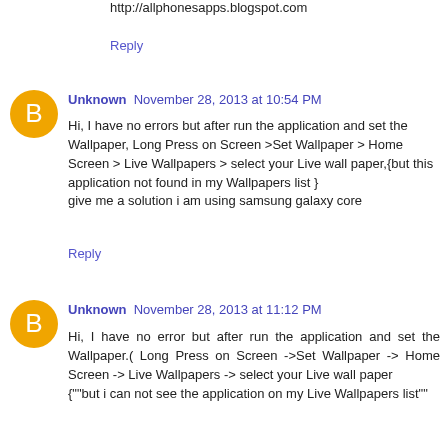http://allphonesapps.blogspot.com
Reply
Unknown  November 28, 2013 at 10:54 PM
Hi, I have no errors but after run the application and set the Wallpaper, Long Press on Screen >Set Wallpaper > Home Screen > Live Wallpapers > select your Live wall paper,{but this application not found in my Wallpapers list }
give me a solution i am using samsung galaxy core
Reply
Unknown  November 28, 2013 at 11:12 PM
Hi, I have no error but after run the application and set the Wallpaper.( Long Press on Screen ->Set Wallpaper -> Home Screen -> Live Wallpapers -> select your Live wall paper
{""but i can not see the application on my Live Wallpapers list""